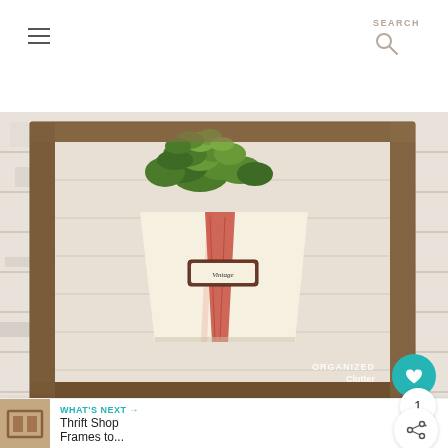SEARCH
[Figure (photo): A cream-colored wall bin/planter with red vertical stripe and a small label reading 'Vintage', containing green leafy plants, mounted inside a rustic wooden frame on a white wood plank wall background. Watermark reads 'ORGANIZED Clutter' bottom right.]
So what can you do with my new wall bin/frame
WHAT'S NEXT → Thrift Shop Frames to...